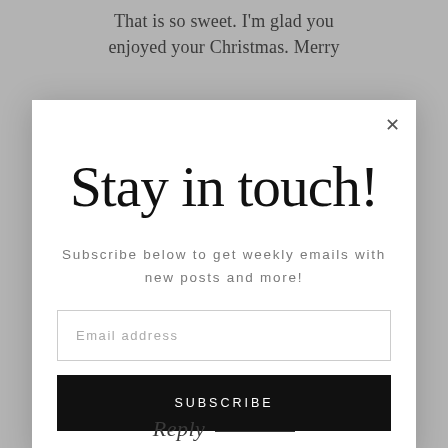That is so sweet. I'm glad you enjoyed your Christmas. Merry
[Figure (screenshot): Email subscription modal popup with script-style heading 'Stay in touch!', body text 'Subscribe below to get weekly emails with new posts and more!', email address input field, and a black SUBSCRIBE button. A close (×) button appears in the top-right corner.]
Reply